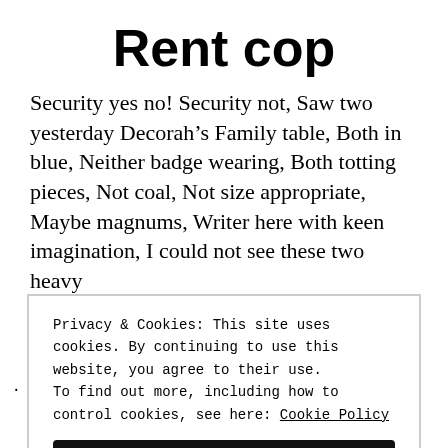Rent cop
Security yes no! Security not, Saw two yesterday Decorah’s Family table, Both in blue, Neither badge wearing, Both totting pieces, Not coal, Not size appropriate, Maybe magnums, Writer here with keen imagination, I could not see these two heavy
Privacy & Cookies: This site uses cookies. By continuing to use this website, you agree to their use.
To find out more, including how to control cookies, see here: Cookie Policy
Close and accept